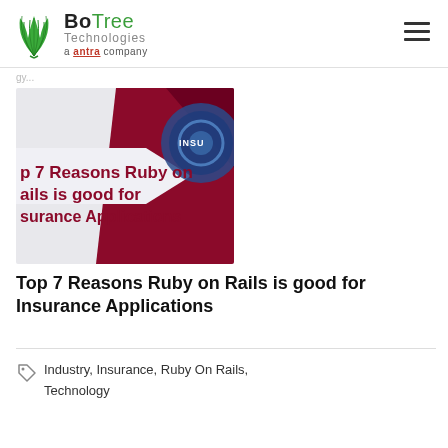BoTree Technologies a antra company
[Figure (illustration): Article thumbnail image with dark red and light geometric shapes showing partial text 'p 7 Reasons Ruby on Rails is good for Insurance Applications' with a blue circular tech element on the right side labeled INSU]
Top 7 Reasons Ruby on Rails is good for Insurance Applications
Industry, Insurance, Ruby On Rails, Technology